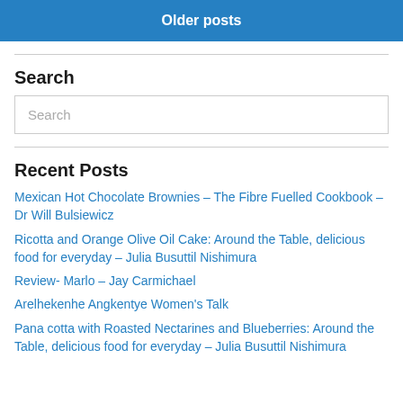Older posts
Search
Search
Recent Posts
Mexican Hot Chocolate Brownies – The Fibre Fuelled Cookbook – Dr Will Bulsiewicz
Ricotta and Orange Olive Oil Cake: Around the Table, delicious food for everyday – Julia Busuttil Nishimura
Review- Marlo – Jay Carmichael
Arelhekenhe Angkentye Women's Talk
Pana cotta with Roasted Nectarines and Blueberries: Around the Table, delicious food for everyday – Julia Busuttil Nishimura